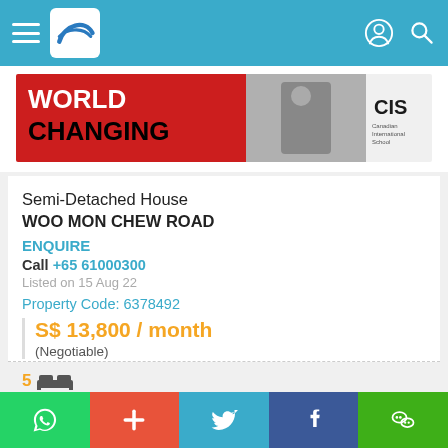Navigation header with logo and search icons
[Figure (infographic): Advertisement banner: red background with 'WORLD CHANGING' text in white/black, photo of masked person writing on glass, CIS Canadian International School logo on right]
Semi-Detached House
WOO MON CHEW ROAD
ENQUIRE
Call +65 61000300
Listed on 15 Aug 22
Property Code: 6378492
S$ 13,800 / month
(Negotiable)
5 beds
Shortlist  Call
WhatsApp | + | Twitter | Facebook | WeChat